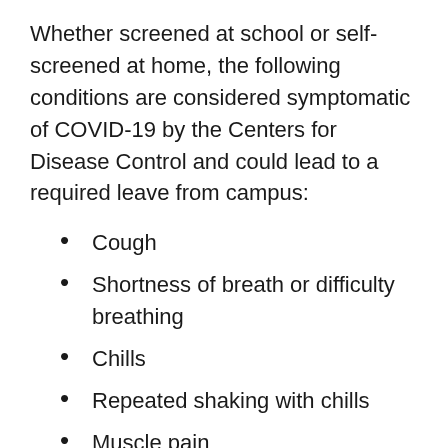Whether screened at school or self-screened at home, the following conditions are considered symptomatic of COVID-19 by the Centers for Disease Control and could lead to a required leave from campus:
Cough
Shortness of breath or difficulty breathing
Chills
Repeated shaking with chills
Muscle pain
Headache
Sore throat